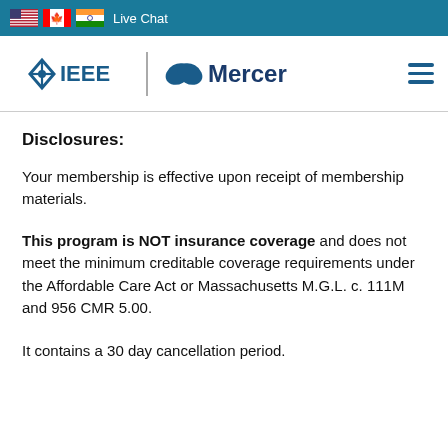Live Chat
[Figure (logo): IEEE and Mercer logos in navigation header bar]
Disclosures:
Your membership is effective upon receipt of membership materials.
This program is NOT insurance coverage and does not meet the minimum creditable coverage requirements under the Affordable Care Act or Massachusetts M.G.L. c. 111M and 956 CMR 5.00.
It contains a 30 day cancellation period.